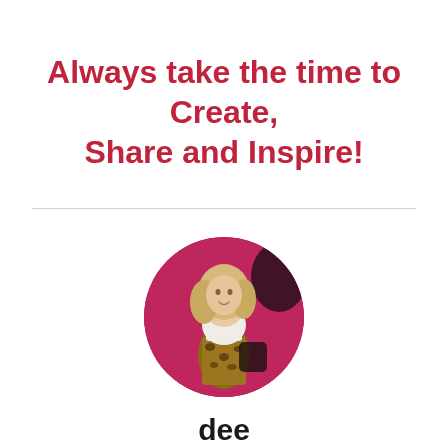Always take the time to Create, Share and Inspire!
[Figure (photo): Circular profile photo of a woman in a white top and patterned skirt against a pink/magenta background]
dee
...of their Pinterest which is kind of will b...